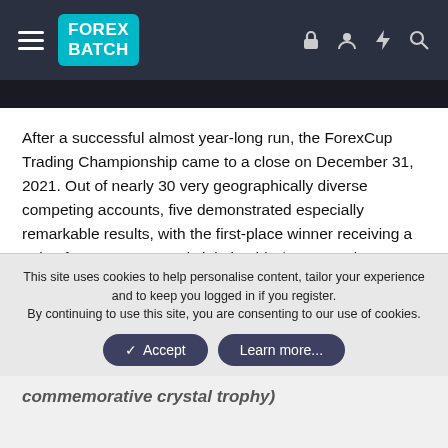FOREX BATCH
After a successful almost year-long run, the ForexCup Trading Championship came to a close on December 31, 2021. Out of nearly 30 very geographically diverse competing accounts, five demonstrated especially remarkable results, with the first-place winner receiving a gain of over 1091%, and claiming his $50,000 prize together with a commemorative crystal trophy.
Here are the final top-5 standings of the FTC 2021, coming from all over the world:
This site uses cookies to help personalise content, tailor your experience and to keep you logged in if you register.
By continuing to use this site, you are consenting to our use of cookies.
commemorative crystal trophy)